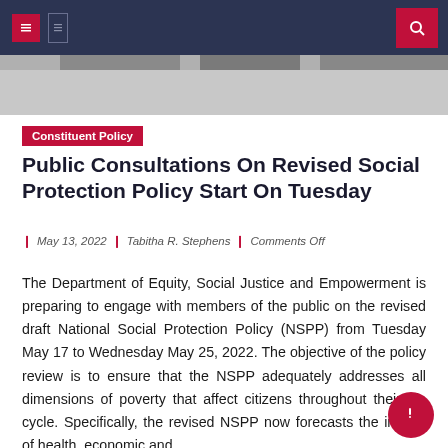[Figure (photo): Hero image at top of page showing people in background, partially visible behind dark navigation bar]
Navigation bar with menu icons and search button
Constituent Policy
Public Consultations On Revised Social Protection Policy Start On Tuesday
May 13, 2022  |  Tabitha R. Stephens  |  Comments Off
The Department of Equity, Social Justice and Empowerment is preparing to engage with members of the public on the revised draft National Social Protection Policy (NSPP) from Tuesday May 17 to Wednesday May 25, 2022. The objective of the policy review is to ensure that the NSPP adequately addresses all dimensions of poverty that affect citizens throughout their life cycle. Specifically, the revised NSPP now forecasts the impact of health, economic and